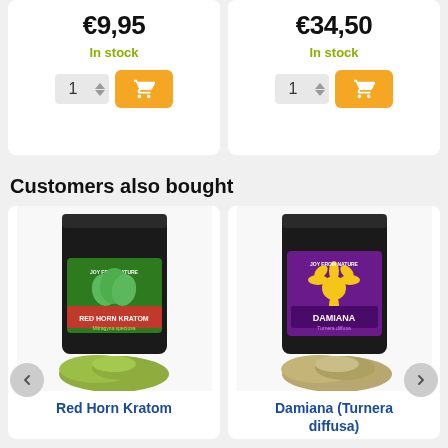€9,95
In stock
€34,50
In stock
Customers also bought
[Figure (photo): Black bag of Red Horn Kratom (Mitragyna speciosa) with green label and pile of green powder in front]
Red Horn Kratom
[Figure (photo): Black bag of Damiana (Turnera diffusa) with purple label and pile of dried herb in front]
Damiana (Turnera diffusa)